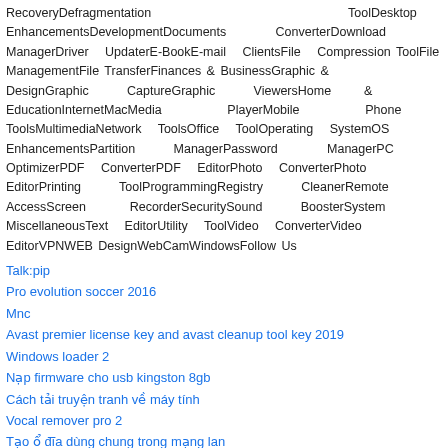RecoveryDefragmentation ToolDesktop EnhancementsDevelopmentDocuments ConverterDownload ManagerDriver UpdaterE-BookE-mail ClientsFile Compression ToolFile ManagementFile TransferFinances & BusinessGraphic & DesignGraphic CaptureGraphic ViewersHome & EducationInternetMacMedia PlayerMobile Phone ToolsMultimediaNetwork ToolsOffice ToolOperating SystemOS EnhancementsPartition ManagerPassword ManagerPC OptimizerPDF ConverterPDF EditorPhoto ConverterPhoto EditorPrinting ToolProgrammingRegistry CleanerRemote AccessScreen RecorderSecuritySound BoosterSystem MiscellaneousText EditorUtility ToolVideo ConverterVideo EditorVPNWEB DesignWebCamWindowsFollow Us
Talk:pip
Pro evolution soccer 2016
Mnc
Avast premier license key and avast cleanup tool key 2019
Windows loader 2
Nạp firmware cho usb kingston 8gb
Cách tải truyện tranh về máy tính
Vocal remover pro 2
Tạo ổ đĩa dùng chung trong mạng lan
Game minecraft